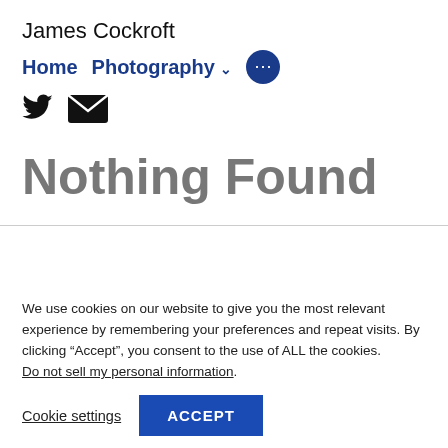James Cockroft
Home Photography … ⋯
Twitter Email social icons
Nothing Found
We use cookies on our website to give you the most relevant experience by remembering your preferences and repeat visits. By clicking “Accept”, you consent to the use of ALL the cookies. Do not sell my personal information.
Cookie settings  ACCEPT